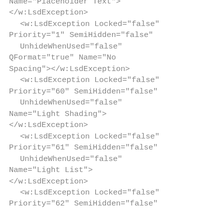Name="Placeholder Text">
</w:LsdException>
  <w:LsdException Locked="false"
Priority="1" SemiHidden="false"
    UnhideWhenUsed="false"
QFormat="true" Name="No
Spacing"></w:LsdException>
  <w:LsdException Locked="false"
Priority="60" SemiHidden="false"
    UnhideWhenUsed="false"
Name="Light Shading">
</w:LsdException>
  <w:LsdException Locked="false"
Priority="61" SemiHidden="false"
    UnhideWhenUsed="false"
Name="Light List">
</w:LsdException>
  <w:LsdException Locked="false"
Priority="62" SemiHidden="false"